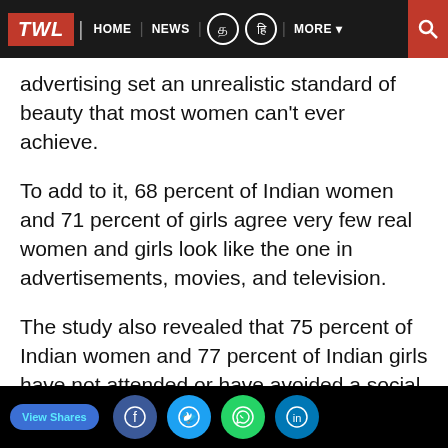TWL | HOME | NEWS | MORE
advertising set an unrealistic standard of beauty that most women can't ever achieve.
To add to it, 68 percent of Indian women and 71 percent of girls agree very few real women and girls look like the one in advertisements, movies, and television.
The study also revealed that 75 percent of Indian women and 77 percent of Indian girls have not attended or have avoided a social engagement, work or school related activity,
View Shares | Facebook | Twitter | WhatsApp | LinkedIn